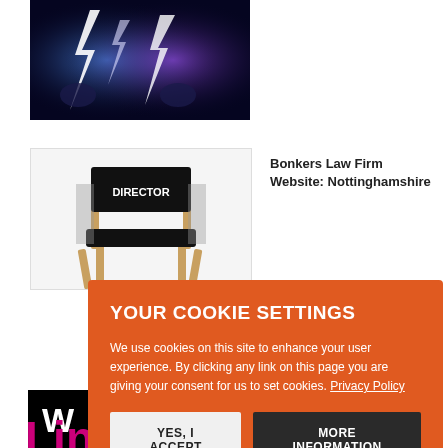[Figure (photo): Lightning bolt / electricity effect image with dark blue background and bright white/blue lightning]
[Figure (photo): Director's chair with 'DIRECTOR' text on back, wooden frame, black seat and back]
Bonkers Law Firm Website: Nottinghamshire
[Figure (screenshot): Cookie consent modal overlay on orange background with title YOUR COOKIE SETTINGS, body text about cookies, Privacy Policy link, YES I ACCEPT button and MORE INFORMATION button]
YOUR COOKIE SETTINGS
We use cookies on this site to enhance your user experience. By clicking any link on this page you are giving your consent for us to set cookies. Privacy Policy
YES, I ACCEPT
MORE INFORMATION
[Figure (logo): DLA Piper logo - blue rounded square with white D shape and teal DLA PIPER text]
[Figure (logo): Linklaters logo - magenta/pink bold text reading Linklaters]